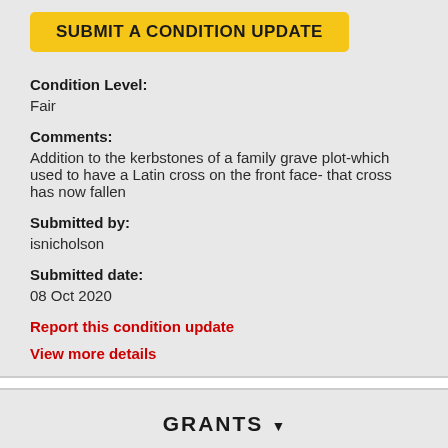SUBMIT A CONDITION UPDATE
Condition Level:
Fair
Comments:
Addition to the kerbstones of a family grave plot-which used to have a Latin cross on the front face- that cross has now fallen
Submitted by:
isnicholson
Submitted date:
08 Oct 2020
Report this condition update
View more details
GRANTS